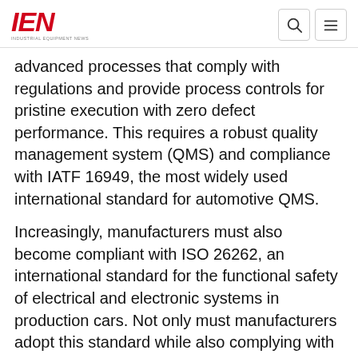IEN — Industrial Equipment News
advanced processes that comply with regulations and provide process controls for pristine execution with zero defect performance. This requires a robust quality management system (QMS) and compliance with IATF 16949, the most widely used international standard for automotive QMS.
Increasingly, manufacturers must also become compliant with ISO 26262, an international standard for the functional safety of electrical and electronic systems in production cars. Not only must manufacturers adopt this standard while also complying with IATF quality standards, they also have a wider responsibility to ensure that all of the component suppliers they work with can support the product's automotive safety integrity levels